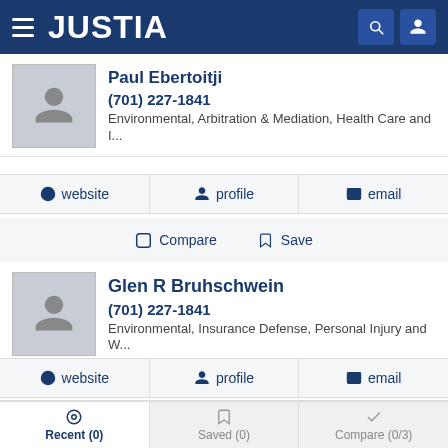JUSTIA
Paul Ebertoitji
(701) 227-1841
Environmental, Arbitration & Mediation, Health Care and I...
website  profile  email
Compare  Save
Glen R Bruhschwein
(701) 227-1841
Environmental, Insurance Defense, Personal Injury and W...
website  profile  email
Compare  Save
Recent (0)  Saved (0)  Compare (0/3)